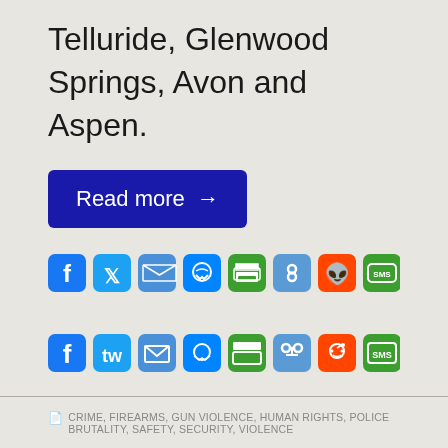Telluride, Glenwood Springs, Avon and Aspen.
Read more →
[Figure (other): Row of social media sharing icons: Facebook, Twitter, Email, Messenger, Print, Link, Reddit, SMS, Gmail, More (+)]
CRIME, FIREARMS, GUN VIOLENCE, HUMAN RIGHTS, POLICE BRUTALITY, SAFETY, SECURITY, VIOLENCE
National Park ranger shoots,